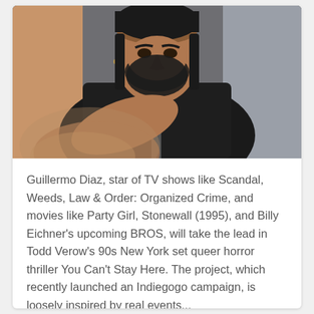[Figure (photo): A bearded man with dark hair and a black zip-up jacket pointing his finger toward the camera aggressively, with a blurred background of beige and grey tones.]
Guillermo Diaz, star of TV shows like Scandal, Weeds, Law & Order: Organized Crime, and movies like Party Girl, Stonewall (1995), and Billy Eichner's upcoming BROS, will take the lead in Todd Verow's 90s New York set queer horror thriller You Can't Stay Here. The project, which recently launched an Indiegogo campaign, is loosely inspired by real events...
Continue Reading →